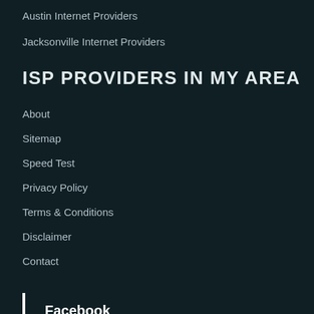Austin Internet Providers
Jacksonville Internet Providers
ISP PROVIDERS IN MY AREA
About
Sitemap
Speed Test
Privacy Policy
Terms & Conditions
Disclaimer
Contact
Facebook
Twitter